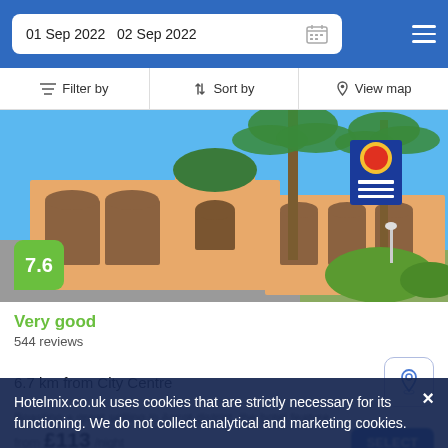01 Sep 2022  02 Sep 2022
Filter by  |  Sort by  |  View map
[Figure (photo): Exterior photo of a hotel building with peach/orange walls, green dome roof, palm trees, and a blue Comfort Inn sign. Clear blue sky background.]
7.6
Very good
544 reviews
6.7 km from City Centre
Boasting a great setting in Ascot district, the hotel feature...
from £113/night
Hotelmix.co.uk uses cookies that are strictly necessary for its functioning. We do not collect analytical and marketing cookies.